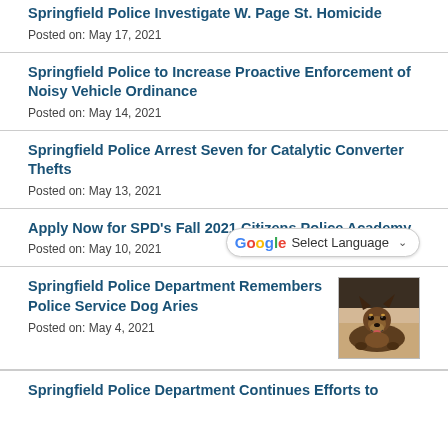Springfield Police Investigate W. Page St. Homicide
Posted on: May 17, 2021
Springfield Police to Increase Proactive Enforcement of Noisy Vehicle Ordinance
Posted on: May 14, 2021
Springfield Police Arrest Seven for Catalytic Converter Thefts
Posted on: May 13, 2021
Apply Now for SPD's Fall 2021 Citizens Police Academy
Posted on: May 10, 2021
Springfield Police Department Remembers Police Service Dog Aries
Posted on: May 4, 2021
[Figure (photo): Photo of a German Shepherd police dog lying down, looking at camera with mouth open]
Springfield Police Department Continues Efforts to